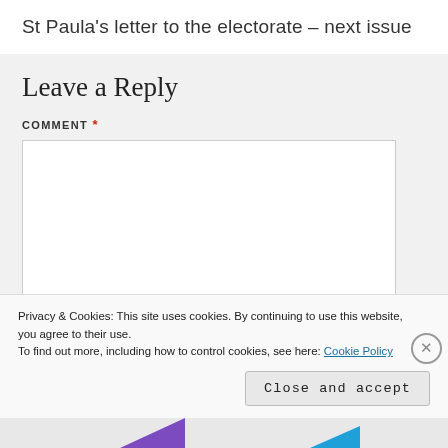St Paula's letter to the electorate – next issue
Leave a Reply
COMMENT *
Privacy & Cookies: This site uses cookies. By continuing to use this website, you agree to their use.
To find out more, including how to control cookies, see here: Cookie Policy
Close and accept